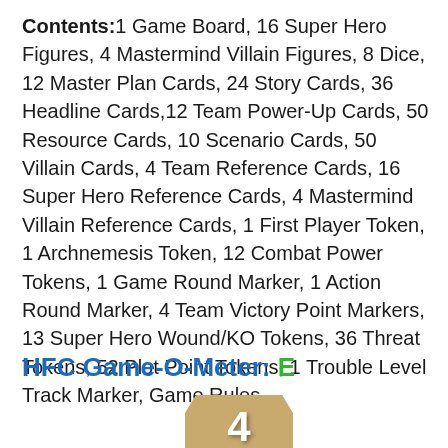Contents: 1 Game Board, 16 Super Hero Figures, 4 Mastermind Villain Figures, 8 Dice, 12 Master Plan Cards, 24 Story Cards, 36 Headline Cards, 12 Team Power-Up Cards, 50 Resource Cards, 10 Scenario Cards, 50 Villain Cards, 4 Team Reference Cards, 16 Super Hero Reference Cards, 4 Mastermind Villain Reference Cards, 1 First Player Token, 1 Archnemesis Token, 12 Combat Power Tokens, 1 Game Round Marker, 1 Action Round Marker, 4 Team Victory Point Markers, 13 Super Hero Wound/KO Tokens, 36 Threat Tokens, 52 Plot Point Tokens, 1 Trouble Level Track Marker, Game Rules
HFC Game-O-Meter: E
[Figure (photo): A bullet/token shaped game piece with a tan/gold background showing the number 4 in white, with blue horizontal stripes at the bottom]